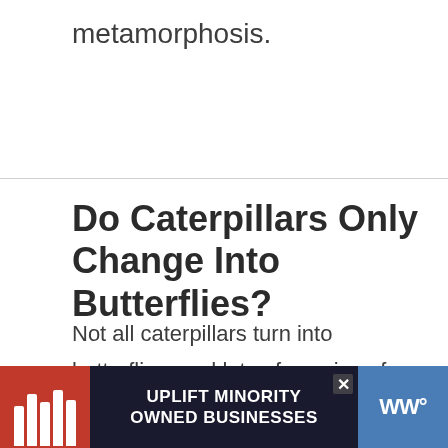metamorphosis.
Do Caterpillars Only Change Into Butterflies?
Not all caterpillars turn into butterflies, and lots of species of caterpillars turn into moths. If you come across a pupating caterpillar, a butterfly or a moth would either come out.
[Figure (other): Advertisement banner reading 'UPLIFT MINORITY OWNED BUSINESSES' with storefront illustration on dark background]